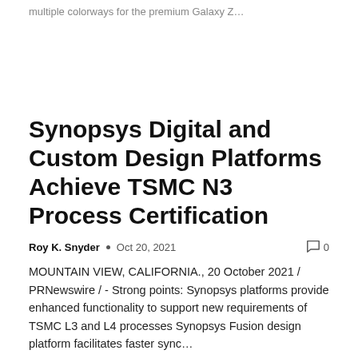multiple colorways for the premium Galaxy Z…
Synopsys Digital and Custom Design Platforms Achieve TSMC N3 Process Certification
Roy K. Snyder • Oct 20, 2021  🗨 0
MOUNTAIN VIEW, CALIFORNIA., 20 October 2021 / PRNewswire / - Strong points: Synopsys platforms provide enhanced functionality to support new requirements of TSMC L3 and L4 processes Synopsys Fusion design platform facilitates faster sync…